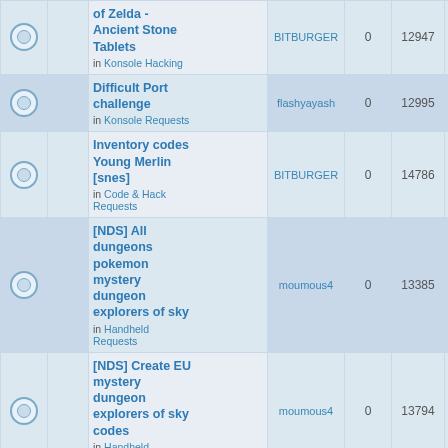|  |  | Topic | Author | Replies | Views | Last Post |
| --- | --- | --- | --- | --- | --- | --- |
|  |  | of Zelda - Ancient Stone Tablets
in Konsole Hacking | BITBURGER | 0 | 12947 | Tue Nov 25, 2:57 pm
BITBURGER |
|  |  | Difficult Port challenge
in Konsole Requests | flashyayash | 0 | 12995 | Mon Nov 2014 12:15
flashyayash |
|  |  | Inventory codes Young Merlin [snes]
in Code & Hack Requests | BITBURGER | 0 | 14786 | Sat Nov 15, 10:12 am
BITBURGER |
|  |  | [NDS] All dungeons pokemon mystery dungeon explorers of sky
in Handheld Requests | moumous4 | 0 | 13385 | Mon Nov 2014 2:58
moumous4 |
|  |  | [NDS] Create EU mystery dungeon explorers of sky codes
in Handheld Requests | moumous4 | 0 | 13794 | Sun Nov 09, 2:11 pm
moumous4 |
|  |  | [GBA] Castlevania Aria of Sorrow [U] ...
in ... | mcabel | 0 | 13793 | Fri Nov 07, 9:55 pm |